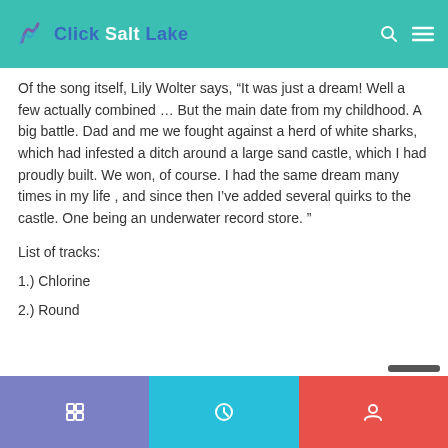Click Salt Lake
Of the song itself, Lily Wolter says, “It was just a dream! Well a few actually combined … But the main date from my childhood. A big battle. Dad and me we fought against a herd of white sharks, which had infested a ditch around a large sand castle, which I had proudly built. We won, of course. I had the same dream many times in my life , and since then I’ve added several quirks to the castle. One being an underwater record store. ”
List of tracks:
1.) Chlorine
2.) Round